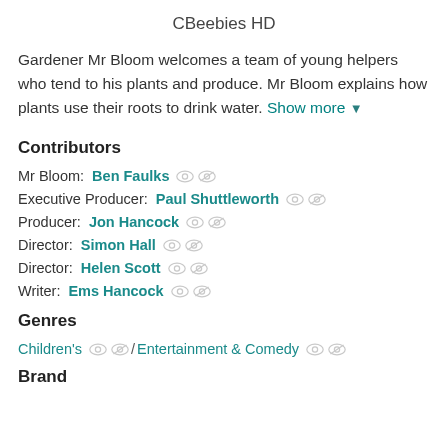CBeebies HD
Gardener Mr Bloom welcomes a team of young helpers who tend to his plants and produce. Mr Bloom explains how plants use their roots to drink water. Show more
Contributors
Mr Bloom: Ben Faulks
Executive Producer: Paul Shuttleworth
Producer: Jon Hancock
Director: Simon Hall
Director: Helen Scott
Writer: Ems Hancock
Genres
Children's / Entertainment & Comedy
Brand